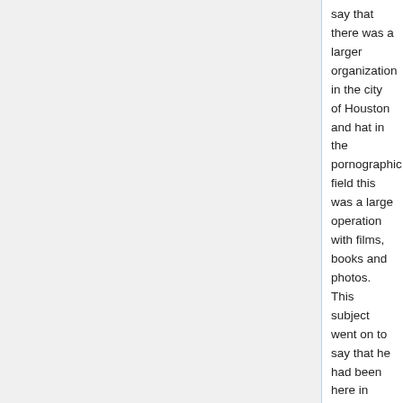say that there was a larger organization in the city of Houston and hat in the pornographic field this was a large operation with films, books and photos. This subject went on to say that he had been here in 1971 after running an add in the underground newspaper called The Advocate and he received a call from Houston and was brought to Houston with his fare paid and he states that while here that he found a large pornographic empire and the exploitation of young boys.. Ahern also said that while here he was photographed by a WM Named ROY AMES and then spent the night with Ames lover and this